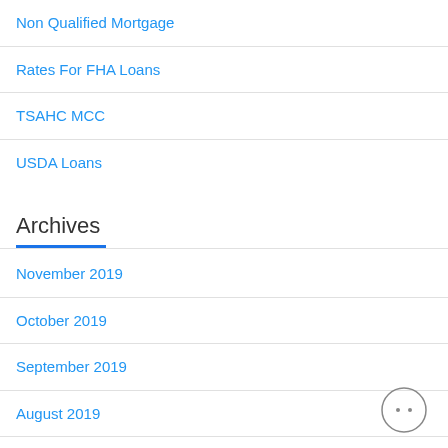Non Qualified Mortgage
Rates For FHA Loans
TSAHC MCC
USDA Loans
Archives
November 2019
October 2019
September 2019
August 2019
July 2019